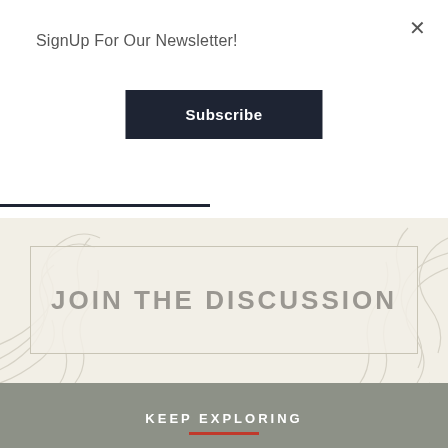SignUp For Our Newsletter!
Subscribe
[Figure (other): Topographic map pattern background with 'JOIN THE DISCUSSION' button overlay]
KEEP EXPLORING
ARTICLES